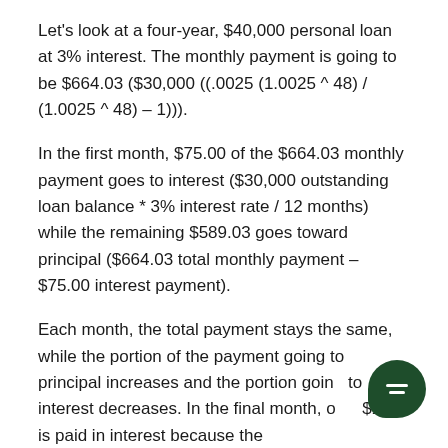Let's look at a four-year, $40,000 personal loan at 3% interest. The monthly payment is going to be $664.03 ($30,000 ((.0025 (1.0025 ^ 48) / (1.0025 ^ 48) − 1))).
In the first month, $75.00 of the $664.03 monthly payment goes to interest ($30,000 outstanding loan balance * 3% interest rate / 12 months) while the remaining $589.03 goes toward principal ($664.03 total monthly payment − $75.00 interest payment).
Each month, the total payment stays the same, while the portion of the payment going to principal increases and the portion going to interest decreases. In the final month, only $1.66 is paid in interest because the